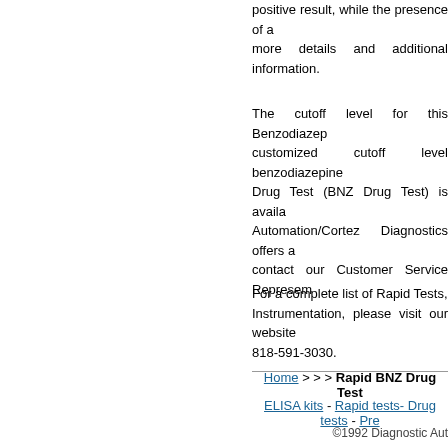positive result, while the presence of a more details and additional information.
The cutoff level for this Benzodiazepine customized cutoff level benzodiazepine Drug Test (BNZ Drug Test) is available. Automation/Cortez Diagnostics offers a contact our Customer Service Representative
For a complete list of Rapid Tests, Instrumentation, please visit our website 818-591-3030.
Home > > > Rapid BNZ Drug Test
ELISA kits - Rapid tests- Drug tests - Pre...
©1992 Diagnostic Aut...